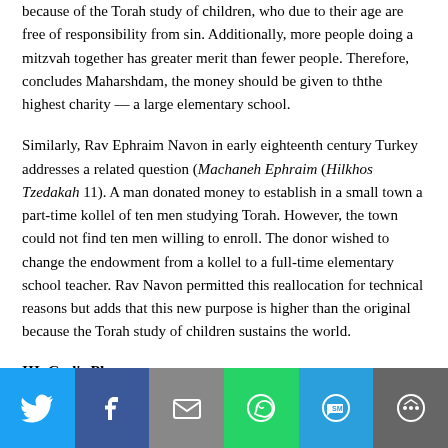because of the Torah study of children, who due to their age are free of responsibility from sin. Additionally, more people doing a mitzvah together has greater merit than fewer people. Therefore, concludes Maharshdam, the money should be given to ththe highest charity — a large elementary school.
Similarly, Rav Ephraim Navon in early eighteenth century Turkey addresses a related question (Machaneh Ephraim (Hilkhos Tzedakah 11). A man donated money to establish in a small town a part-time kollel of ten men studying Torah. However, the town could not find ten men willing to enroll. The donor wished to change the endowment from a kollel to a full-time elementary school teacher. Rav Navon permitted this reallocation for technical reasons but adds that this new purpose is higher than the original because the Torah study of children sustains the world.
III. God's Place
[Figure (other): Social sharing bar with icons for Twitter, Facebook, Email, WhatsApp, SMS, and More]